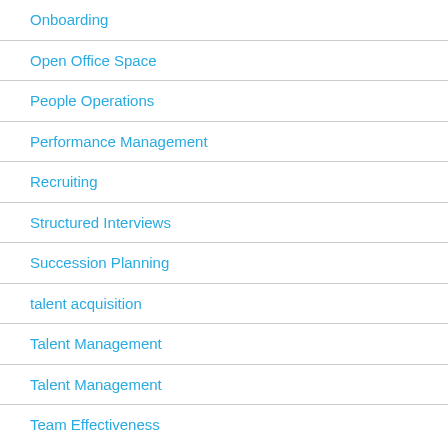Onboarding
Open Office Space
People Operations
Performance Management
Recruiting
Structured Interviews
Succession Planning
talent acquisition
Talent Management
Talent Management
Team Effectiveness